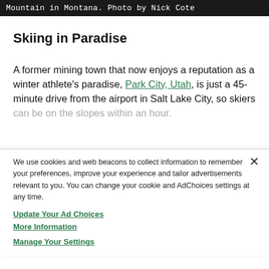Mountain in Montana. Photo by Nick Cote
Skiing in Paradise
A former mining town that now enjoys a reputation as a winter athlete's paradise, Park City, Utah, is just a 45-minute drive from the airport in Salt Lake City, so skiers can be on the slopes within an hour.
We use cookies and web beacons to collect information to remember your preferences, improve your experience and tailor advertisements relevant to you. You can change your cookie and AdChoices settings at any time.
Update Your Ad Choices
More Information
Manage Your Settings